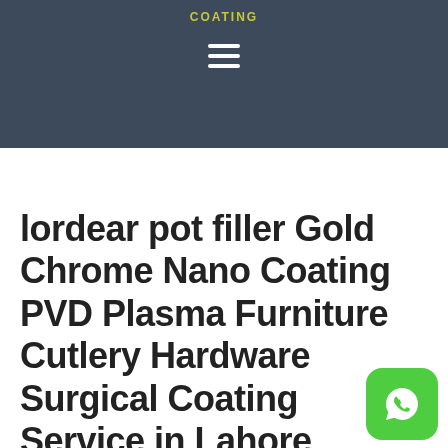COATING
lordear pot filler Gold Chrome Nano Coating PVD Plasma Furniture Cutlery Hardware Surgical Coating Service in Lahore
[Figure (logo): WhatsApp floating action button — green rounded square with white WhatsApp phone handset icon]